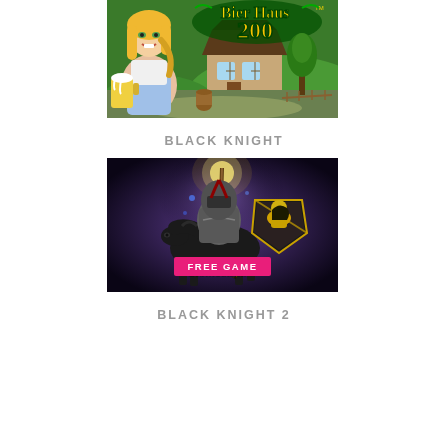[Figure (illustration): BierHaus 200 slot game promotional image showing a blonde woman holding a beer mug with a German tavern in the background and decorative logo text 'Bier Haus 200']
BLACK KNIGHT
[Figure (illustration): Black Knight slot game promotional image showing an armored knight on a black horse with a shield, with 'Black Knight' text and a pink 'FREE GAME' badge overlay]
BLACK KNIGHT 2